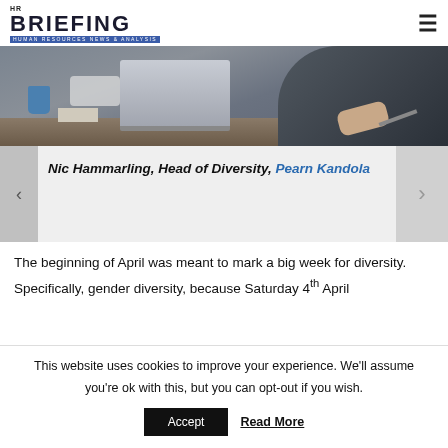HR BRIEFING - HUMAN RESOURCES NEWS & ANALYSIS
[Figure (photo): Photo of two business people at a desk with a laptop, coffee mug, and papers. Dark professional setting.]
Nic Hammarling, Head of Diversity, Pearn Kandola
The beginning of April was meant to mark a big week for diversity. Specifically, gender diversity, because Saturday 4th April
This website uses cookies to improve your experience. We'll assume you're ok with this, but you can opt-out if you wish.
Accept  Read More